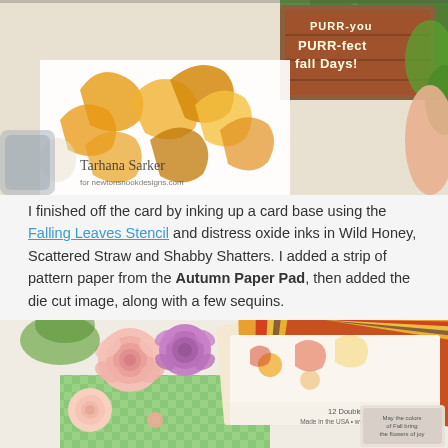[Figure (photo): Close-up of a handmade fall-themed greeting card featuring orange autumn leaves made with the Falling Leaves Stencil, a wooden crate die cut with text 'PURR-fect fall days!', and a watermark reading 'Tarhana Sarker for newtonsnookdesigns.com']
I finished off the card by inking up a card base using the Falling Leaves Stencil and distress oxide inks in Wild Honey, Scattered Straw and Shabby Shatters. I added a strip of pattern paper from the Autumn Paper Pad, then added the die cut image, along with a few sequins.
[Figure (photo): Photo of the Autumn Paper Pad product showing multiple colorful autumn-patterned papers fanned out, alongside pink and purple paper roses, green gingham patterned paper, and a stamp reading 'May the colors of Fall bring the flowers of joy'. Label reads '12 Double-sided Designs, Made in the USA, www.newtonsnookdesigns.com']